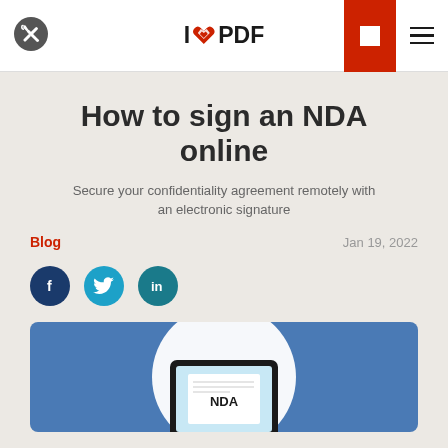ilovepdf
How to sign an NDA online
Secure your confidentiality agreement remotely with an electronic signature
Blog   Jan 19, 2022
[Figure (illustration): Social sharing buttons: Facebook, Twitter, LinkedIn]
[Figure (photo): Tablet device displaying an NDA document on a blue background with a white circle]